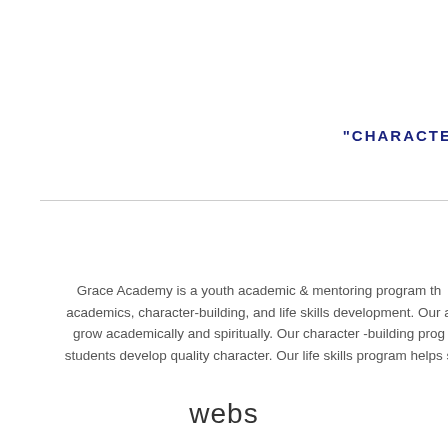BU
"CHARACTER -
Grace Academy is a youth academic & mentoring program th... academics, character-building, and life skills development. Our a... grow academically and spiritually. Our character -building prog... students develop quality character. Our life skills program helps s...
webs